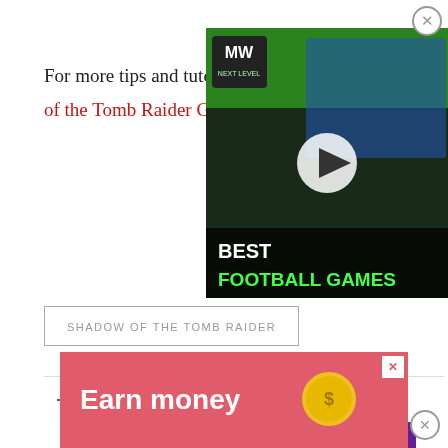For more tips and tutorials, he
of the Tomb Raider Guide hub
[Figure (screenshot): Video ad thumbnail showing football/soccer game with players, 'BEST FOOTBALL GAMES' text, MW Next Level logo, play button overlay]
SHADOW OF THE TOMB RAIDER
YOU MAY ALSO LIKE
[Figure (screenshot): Gotham Knights game artwork showing four DC superhero characters (Robin, Nightwing, Batgirl, Red Hood) against purple city background]
[Figure (screenshot): Bottom advertisement with pink/red background showing 'Earn money' text and coin graphic]